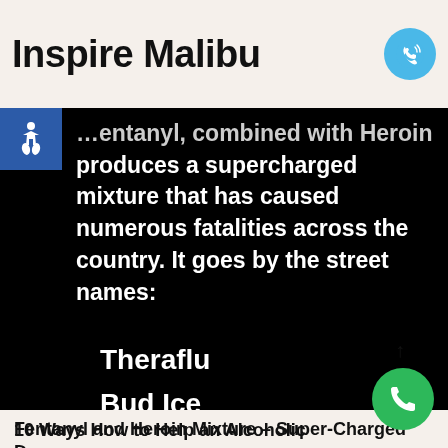Inspire Malibu
[Figure (screenshot): Dark background image showing text about fentanyl combined with heroin producing a supercharged mixture that has caused numerous fatalities across the country. It goes by the street names: Theraflu, Bud Ice]
Fentanyl and Heroin Mixture – Super-Charged Danger
Read Post »
10 Ways How to Help an Alcoholic